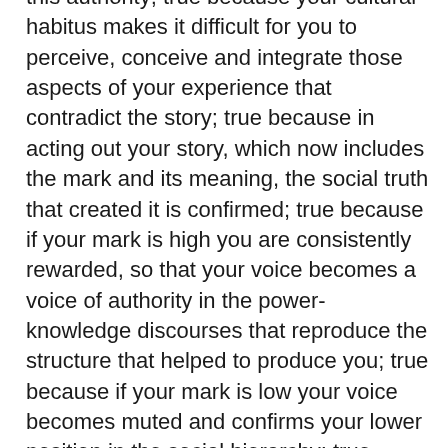this authority; true because your cultural habitus makes it difficult for you to perceive, conceive and integrate those aspects of your experience that contradict the story; true because in acting out your story, which now includes the mark and its meaning, the social truth that created it is confirmed; true because if your mark is high you are consistently rewarded, so that your voice becomes a voice of authority in the power-knowledge discourses that reproduce the structure that helped to produce you; true because if your mark is low your voice becomes muted and confirms your lower position in the social hierarchy; true finally because that success or failure confirms that mark that implicitly predicted the now self-evident consequences. And so the circle is complete."